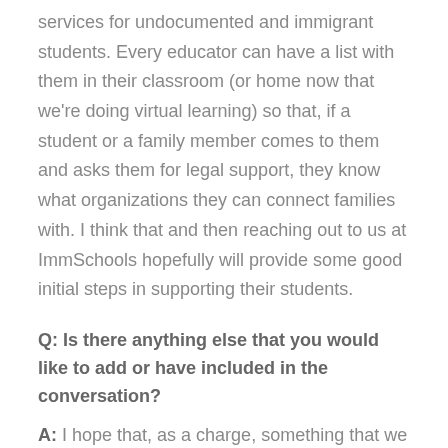services for undocumented and immigrant students. Every educator can have a list with them in their classroom (or home now that we're doing virtual learning) so that, if a student or a family member comes to them and asks them for legal support, they know what organizations they can connect families with. I think that and then reaching out to us at ImmSchools hopefully will provide some good initial steps in supporting their students.
Q: Is there anything else that you would like to add or have included in the conversation?
A: I hope that, as a charge, something that we can all do is make sure that we are expanding the opportunities so that more of our students who are